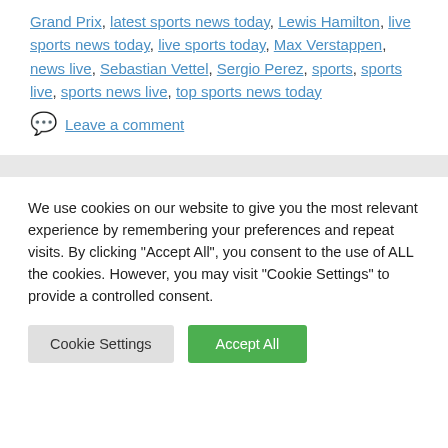Grand Prix, latest sports news today, Lewis Hamilton, live sports news today, live sports today, Max Verstappen, news live, Sebastian Vettel, Sergio Perez, sports, sports live, sports news live, top sports news today
Leave a comment
We use cookies on our website to give you the most relevant experience by remembering your preferences and repeat visits. By clicking "Accept All", you consent to the use of ALL the cookies. However, you may visit "Cookie Settings" to provide a controlled consent.